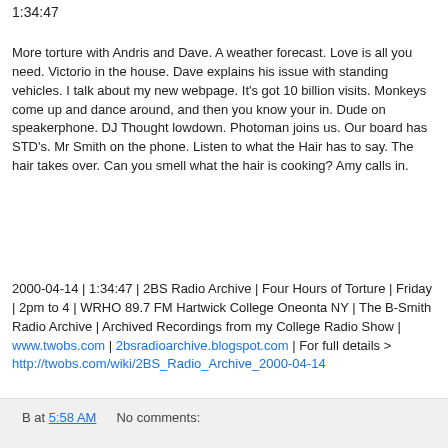1:34:47
More torture with Andris and Dave. A weather forecast. Love is all you need. Victorio in the house. Dave explains his issue with standing vehicles. I talk about my new webpage. It's got 10 billion visits. Monkeys come up and dance around, and then you know your in. Dude on speakerphone. DJ Thought lowdown. Photoman joins us. Our board has STD's. Mr Smith on the phone. Listen to what the Hair has to say. The hair takes over. Can you smell what the hair is cooking? Amy calls in.
2000-04-14 | 1:34:47 | 2BS Radio Archive | Four Hours of Torture | Friday | 2pm to 4 | WRHO 89.7 FM Hartwick College Oneonta NY | The B-Smith Radio Archive | Archived Recordings from my College Radio Show | www.twobs.com | 2bsradioarchive.blogspot.com | For full details > http://twobs.com/wiki/2BS_Radio_Archive_2000-04-14
B at 5:58 AM    No comments: